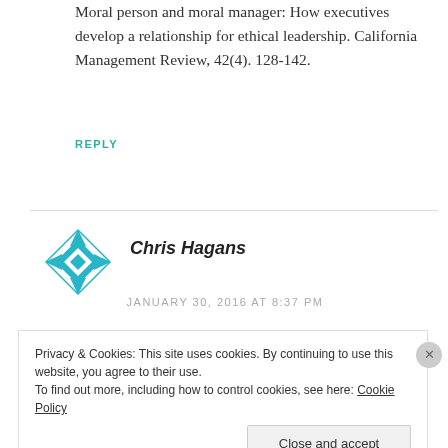Moral person and moral manager: How executives develop a relationship for ethical leadership. California Management Review, 42(4). 128-142.
REPLY
[Figure (logo): Blue geometric snowflake/diamond avatar icon for user Chris Hagans]
Chris Hagans
JANUARY 30, 2016 AT 8:37 PM
Privacy & Cookies: This site uses cookies. By continuing to use this website, you agree to their use. To find out more, including how to control cookies, see here: Cookie Policy
Close and accept